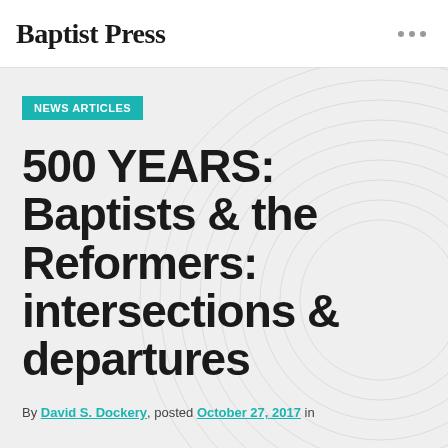Baptist Press
NEWS ARTICLES
500 YEARS: Baptists & the Reformers: intersections & departures
By David S. Dockery, posted October 27, 2017 in